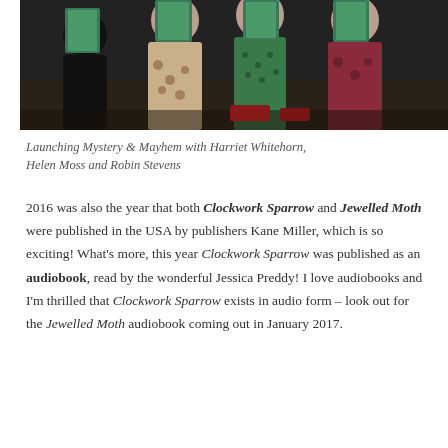[Figure (photo): Group photo of people holding up books at what appears to be a book launch event. Several people are visible, some in patterned dresses, holding teal/green colored books. The setting appears to be a bookshop or event venue.]
Launching Mystery & Mayhem with Harriet Whitehorn, Helen Moss and Robin Stevens
2016 was also the year that both Clockwork Sparrow and Jewelled Moth were published in the USA by publishers Kane Miller, which is so exciting! What's more, this year Clockwork Sparrow was published as an audiobook, read by the wonderful Jessica Preddy! I love audiobooks and I'm thrilled that Clockwork Sparrow exists in audio form – look out for the Jewelled Moth audiobook coming out in January 2017.